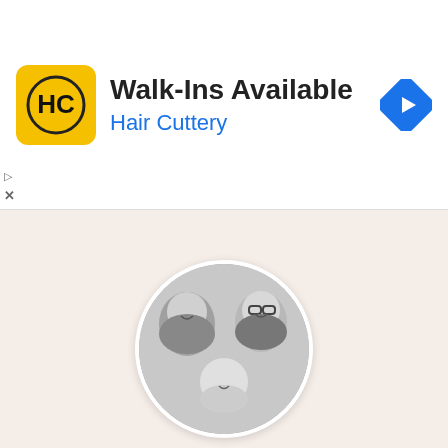[Figure (screenshot): Hair Cuttery advertisement banner with yellow HC logo, 'Walk-Ins Available' heading, 'Hair Cuttery' subtitle in blue, and navigation arrow icon]
Walk-Ins Available
Hair Cuttery
[Figure (photo): Circular profile photo in black and white showing two adults and a baby]
Missie C.
13 projects · 5 followers
September
[Figure (illustration): Circular image of Pikachu Pokemon character with light blue background]